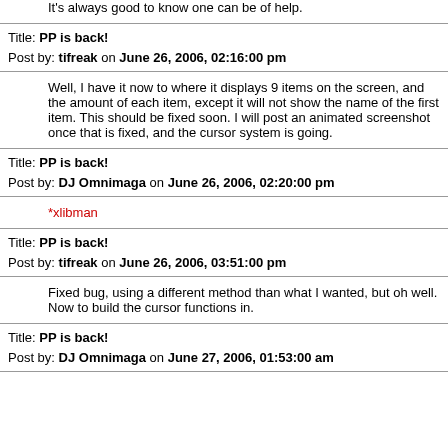It's always good to know one can be of help.
Title: PP is back!
Post by: tifreak on June 26, 2006, 02:16:00 pm
Well, I have it now to where it displays 9 items on the screen, and the amount of each item, except it will not show the name of the first item. This should be fixed soon. I will post an animated screenshot once that is fixed, and the cursor system is going.
Title: PP is back!
Post by: DJ Omnimaga on June 26, 2006, 02:20:00 pm
*xlibman
Title: PP is back!
Post by: tifreak on June 26, 2006, 03:51:00 pm
Fixed bug, using a different method than what I wanted, but oh well. Now to build the cursor functions in.
Title: PP is back!
Post by: DJ Omnimaga on June 27, 2006, 01:53:00 am